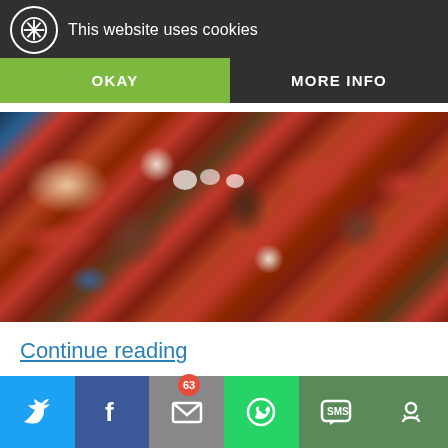This website uses cookies
OKAY
MORE INFO
[Figure (photo): Roasted vegetables including carrots and potatoes on a foil-lined pan with salt flakes]
Continue reading
[Figure (infographic): Social sharing buttons: Facebook, Twitter, Pinterest (63), Email, Yummly, Reddit, More Options]
[Figure (infographic): Bottom mobile sharing bar: Twitter, Facebook, Email, WhatsApp, SMS, More Options]